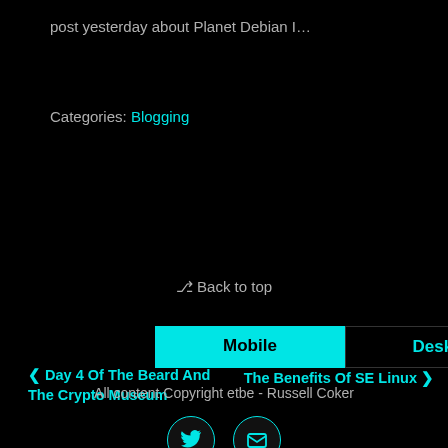post yesterday about Planet Debian I…
Categories: Blogging
‹ Day 4 Of The Beard And The Crypto Museum
The Benefits Of SE Linux ›
⌃ Back to top
Mobile   Desktop
All content Copyright etbe - Russell Coker
[Figure (other): Social media icons: Twitter bird icon and envelope/email icon in teal circles]